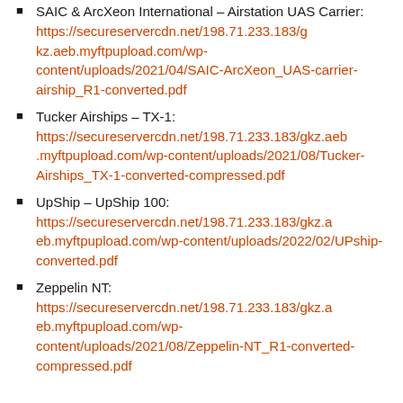SAIC & ArcXeon International – Airstation UAS Carrier: https://secureservercdn.net/198.71.233.183/gkz.aeb.myftpupload.com/wp-content/uploads/2021/04/SAIC-ArcXeon_UAS-carrier-airship_R1-converted.pdf
Tucker Airships – TX-1: https://secureservercdn.net/198.71.233.183/gkz.aeb.myftpupload.com/wp-content/uploads/2021/08/Tucker-Airships_TX-1-converted-compressed.pdf
UpShip – UpShip 100: https://secureservercdn.net/198.71.233.183/gkz.aeb.myftpupload.com/wp-content/uploads/2022/02/UPship-converted.pdf
Zeppelin NT: https://secureservercdn.net/198.71.233.183/gkz.aeb.myftpupload.com/wp-content/uploads/2021/08/Zeppelin-NT_R1-converted-compressed.pdf